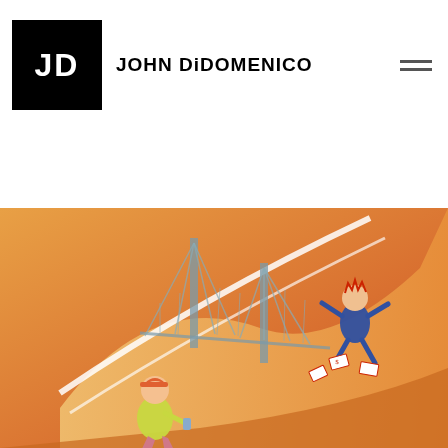mortgage is 2.61 percent. This equates to 45 basis points or over 20 percent – less than half of the 30 year average for the 30-year rate (which is 5.91 percent).
JD JOHN DiDOMENICO
Continue reading...
[Figure (illustration): Cartoon illustration showing two people on a wave-like ramp with a suspension bridge in the background. One person in a yellow jacket kneels at the bottom, another person in a blue suit falls at the top right near scattered playing cards.]